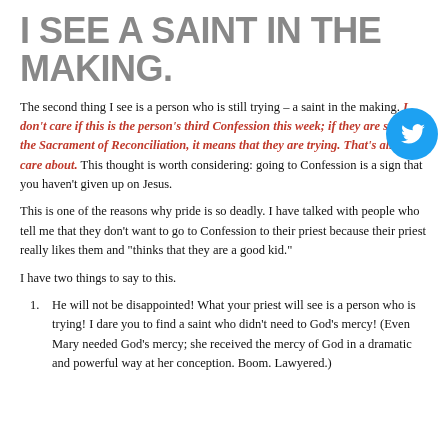I SEE A SAINT IN THE MAKING.
[Figure (logo): Twitter bird logo, cyan circle with white bird icon]
The second thing I see is a person who is still trying – a saint in the making. I don't care if this is the person's third Confession this week; if they are seeking the Sacrament of Reconciliation, it means that they are trying. That's all that I care about. This thought is worth considering: going to Confession is a sign that you haven't given up on Jesus.
This is one of the reasons why pride is so deadly. I have talked with people who tell me that they don't want to go to Confession to their priest because their priest really likes them and "thinks that they are a good kid."
I have two things to say to this.
He will not be disappointed! What your priest will see is a person who is trying! I dare you to find a saint who didn't need to God's mercy! (Even Mary needed God's mercy; she received the mercy of God in a dramatic and powerful way at her conception. Boom. Lawyered.)